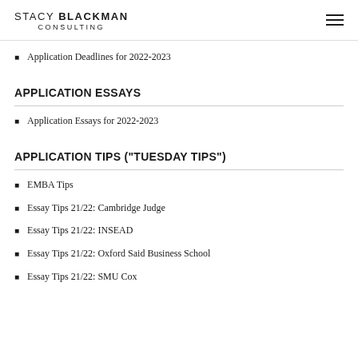STACY BLACKMAN CONSULTING
Application Deadlines for 2022-2023
APPLICATION ESSAYS
Application Essays for 2022-2023
APPLICATION TIPS ("TUESDAY TIPS")
EMBA Tips
Essay Tips 21/22: Cambridge Judge
Essay Tips 21/22: INSEAD
Essay Tips 21/22: Oxford Said Business School
Essay Tips 21/22: SMU Cox